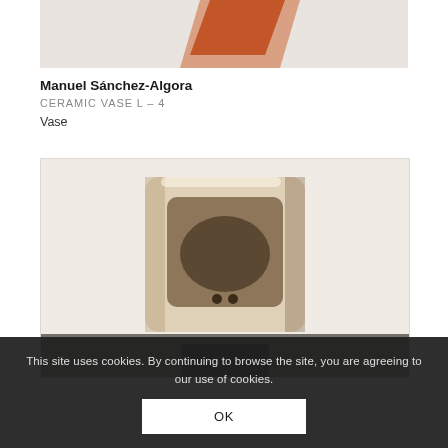[Figure (photo): Top portion of a ceramic vase with terracotta/orange geometric shape visible against a light background]
Manuel Sánchez-Algora
CERAMIC VASE L – 4
Vase
[Figure (photo): Top-down view of a square ceramic vase in beige/cream color with rounded interior and two small dark dots visible at the bottom]
This site uses cookies. By continuing to browse the site, you are agreeing to our use of cookies.
OK